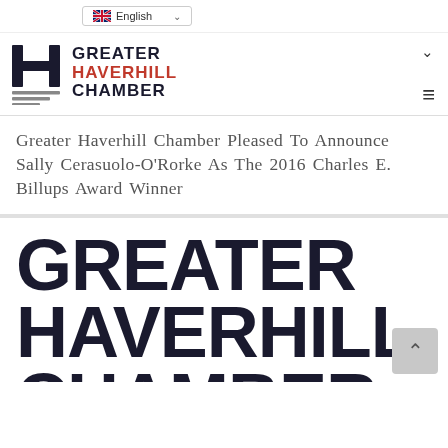English
[Figure (logo): Greater Haverhill Chamber logo with H symbol and three-line graphic]
Greater Haverhill Chamber Pleased To Announce Sally Cerasuolo-O'Rorke As The 2016 Charles E. Billups Award Winner
GREATER HAVERHILL CHAMBER